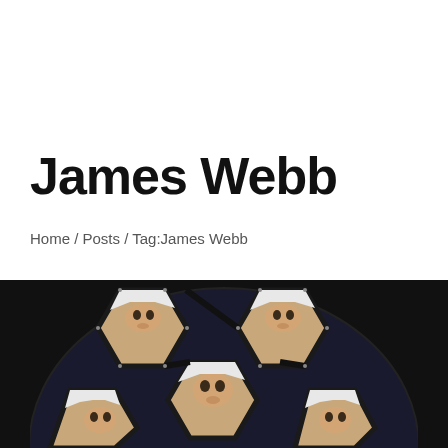James Webb
Home / Posts / Tag:James Webb
[Figure (photo): Hexagonal mirror segments of the James Webb Space Telescope, with reflections of a person's face visible in each segment, against a dark background.]